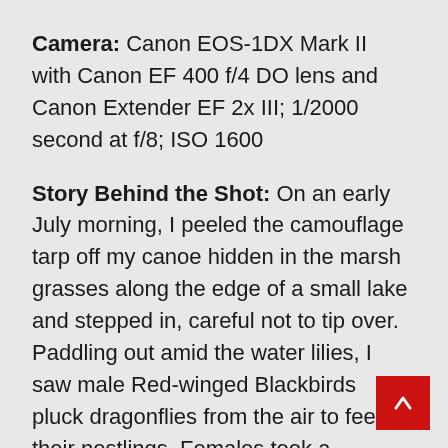Camera: Canon EOS-1DX Mark II with Canon EF 400 f/4 DO lens and Canon Extender EF 2x III; 1/2000 second at f/8; ISO 1600
Story Behind the Shot: On an early July morning, I peeled the camouflage tarp off my canoe hidden in the marsh grasses along the edge of a small lake and stepped in, careful not to tip over. Paddling out amid the water lilies, I saw male Red-winged Blackbirds pluck dragonflies from the air to feed their nestlings. Females took a different tack: They hopped from lily pad to lily pad, plucking out insects inside the yellow and white flowers. I steadied my camera by setting it on my equipment bag, which